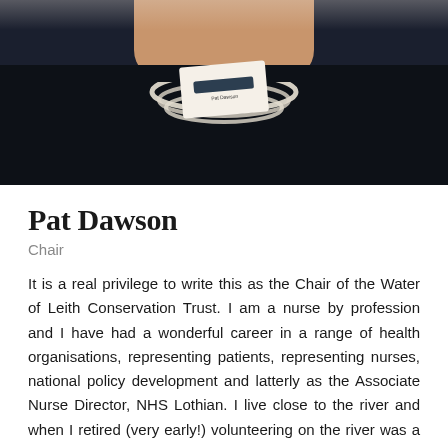[Figure (photo): Head and shoulders photo of Pat Dawson wearing a dark top and pearl necklace, with a name badge visible]
Pat Dawson
Chair
It is a real privilege to write this as the Chair of the Water of Leith Conservation Trust. I am a nurse by profession and I have had a wonderful career in a range of health organisations, representing patients, representing nurses, national policy development and latterly as the Associate Nurse Director, NHS Lothian. I live close to the river and when I retired (very early!) volunteering on the river was a fabulous opportunity. Being experienced in committee work, and being a bit questioning, I was asked to become a Trustee! I now Chair the Trust and our wonderful team. I hope to